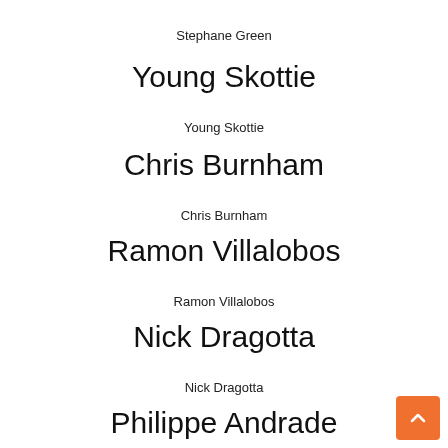Stephane Green
Young Skottie
Young Skottie
Chris Burnham
Chris Burnham
Ramon Villalobos
Ramon Villalobos
Nick Dragotta
Nick Dragotta
Philippe Andrade